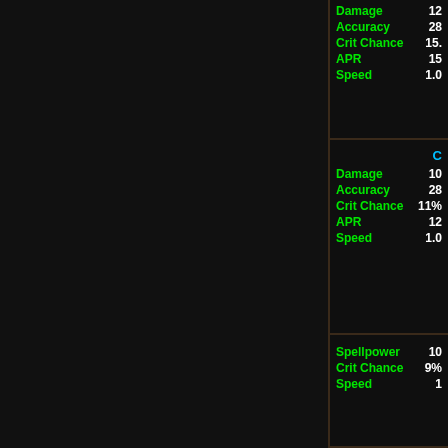| Stat | Value |
| --- | --- |
| Damage | 12 |
| Accuracy | 28 |
| Crit Chance | 15. |
| APR | 15 |
| Speed | 1.0 |
| Stat | Value |
| --- | --- |
| Damage | 10 |
| Accuracy | 28 |
| Crit Chance | 11% |
| APR | 12 |
| Speed | 1.0 |
| Stat | Value |
| --- | --- |
| Spellpower | 10 |
| Crit Chance | 9% |
| Speed | 1 |